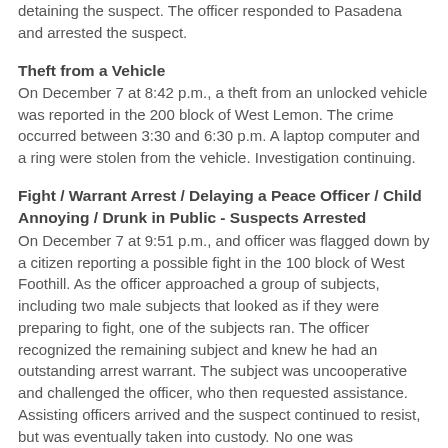detaining the suspect.  The officer responded to Pasadena and arrested the suspect.
Theft from a Vehicle
On December 7 at 8:42 p.m., a theft from an unlocked vehicle was reported in the 200 block of West Lemon.  The crime occurred between 3:30 and 6:30 p.m.  A laptop computer and a ring were stolen from the vehicle.  Investigation continuing.
Fight / Warrant Arrest / Delaying a Peace Officer / Child Annoying / Drunk in Public - Suspects Arrested
On December 7 at 9:51 p.m., and officer was flagged down by a citizen reporting a possible fight in the 100 block of West Foothill.  As the officer approached a group of subjects, including two male subjects that looked as if they were preparing to fight, one of the subjects ran.  The officer recognized the remaining subject and knew he had an outstanding arrest warrant.  The subject was uncooperative and challenged the officer, who then requested assistance.  Assisting officers arrived and the suspect continued to resist, but was eventually taken into custody.  No one was